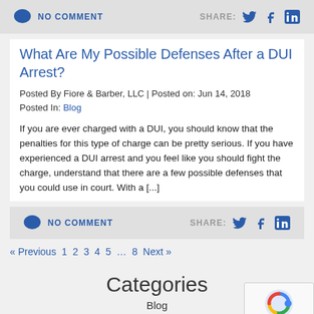NO COMMENT   SHARE:
What Are My Possible Defenses After a DUI Arrest?
Posted By Fiore & Barber, LLC | Posted on: Jun 14, 2018
Posted In: Blog
If you are ever charged with a DUI, you should know that the penalties for this type of charge can be pretty serious. If you have experienced a DUI arrest and you feel like you should fight the charge, understand that there are a few possible defenses that you could use in court. With a [...]
NO COMMENT   SHARE:
« Previous 1 2 3 4 5 … 8 Next »
Categories
Blog